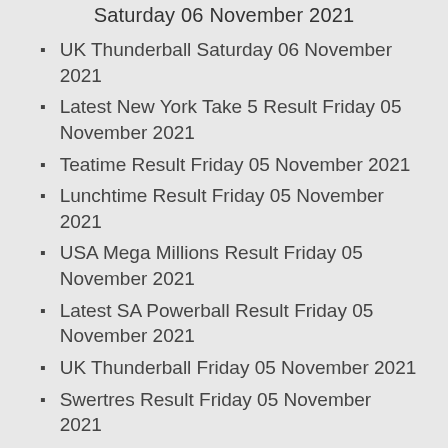Saturday 06 November 2021
UK Thunderball Saturday 06 November 2021
Latest New York Take 5 Result Friday 05 November 2021
Teatime Result Friday 05 November 2021
Lunchtime Result Friday 05 November 2021
USA Mega Millions Result Friday 05 November 2021
Latest SA Powerball Result Friday 05 November 2021
UK Thunderball Friday 05 November 2021
Swertres Result Friday 05 November 2021
Latest New York Take 5 Result Thursday 04 November 2021